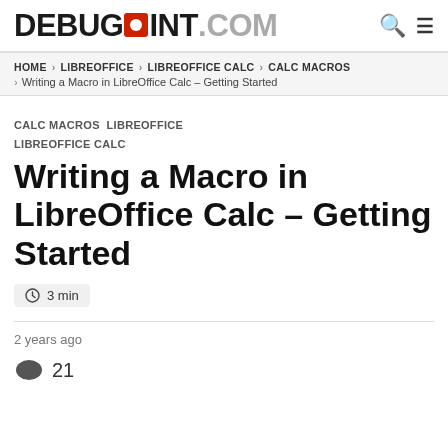DEBUGPOINT.COM
HOME > LIBREOFFICE > LIBREOFFICE CALC > CALC MACROS > Writing a Macro in LibreOffice Calc – Getting Started
CALC MACROS  LIBREOFFICE  LIBREOFFICE CALC
Writing a Macro in LibreOffice Calc – Getting Started
3 min
2 years ago
21